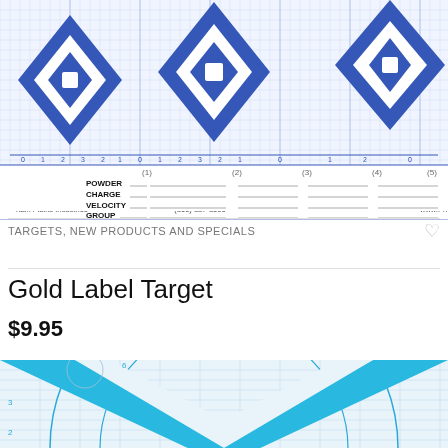[Figure (illustration): Shooting target card with three blue diamond bullseye targets on grid paper, with labeled rows for POWDER, CHARGE, VELOCITY, GROUP and columns numbered (1)-(5). Footer shows 'rtain Plains Industries (800) 887-3000 www.Pri']
TARGETS, NEW PRODUCTS AND SPECIALS
Gold Label Target
$9.95
[Figure (illustration): Partial view of a shooting target with cyan/light blue V-shaped design on graph paper background with circular arc lines]